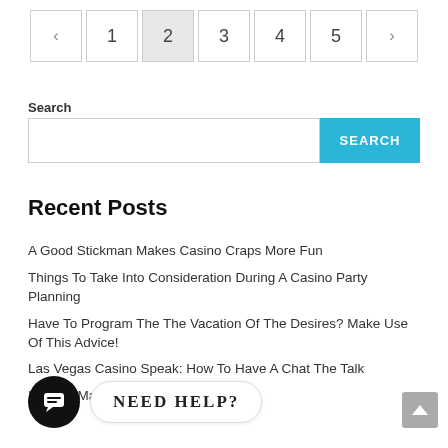[Figure (other): Pagination control with back arrow, pages 1, 2 (active/highlighted), 3, 4, 5, and forward arrow]
Search
[Figure (other): Search input box with blue SEARCH button]
Recent Posts
A Good Stickman Makes Casino Craps More Fun
Things To Take Into Consideration During A Casino Party Planning
Have To Program The The Vacation Of The Desires? Make Use Of This Advice!
Las Vegas Casino Speak: How To Have A Chat The Talk
Internet Marketing Is No Online Lottery
[Figure (other): Chat icon (black circle with speech bubble) and 'NEED HELP?' bubble tooltip]